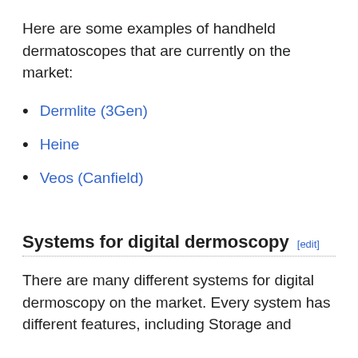Here are some examples of handheld dermatoscopes that are currently on the market:
Dermlite (3Gen)
Heine
Veos (Canfield)
Systems for digital dermoscopy
There are many different systems for digital dermoscopy on the market. Every system has different features, including Storage and